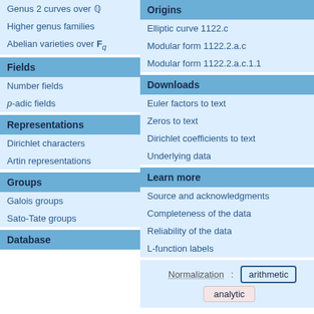Genus 2 curves over Q
Higher genus families
Abelian varieties over F_q
Fields
Number fields
p-adic fields
Representations
Dirichlet characters
Artin representations
Groups
Galois groups
Sato-Tate groups
Database
Origins
Elliptic curve 1122.c
Modular form 1122.2.a.c
Modular form 1122.2.a.c.1.1
Downloads
Euler factors to text
Zeros to text
Dirichlet coefficients to text
Underlying data
Learn more
Source and acknowledgments
Completeness of the data
Reliability of the data
L-function labels
Normalization: arithmetic analytic
Dirichlet series